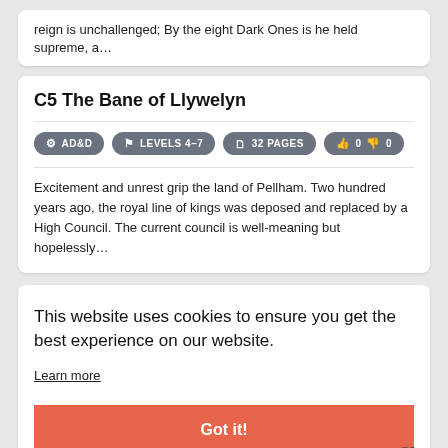reign is unchallenged; By the eight Dark Ones is he held supreme, a…
C5 The Bane of Llywelyn
AD&D  LEVELS 4–7  32 PAGES  0  0
Excitement and unrest grip the land of Pellham. Two hundred years ago, the royal line of kings was deposed and replaced by a High Council. The current council is well-meaning but hopelessly…
This website uses cookies to ensure you get the best experience on our website.
Learn more
ne
Got it!